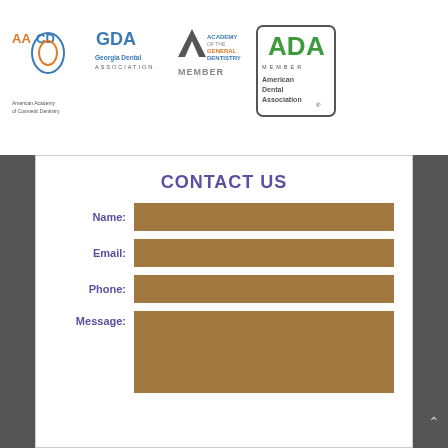[Figure (logo): American Academy of Cosmetic Dentistry (AACD) logo]
[Figure (logo): Georgia Dental Association (GDA) logo]
[Figure (logo): Academy of General Dentistry (AGD) MEMBER logo]
[Figure (logo): American Dental Association (ADA) MEMBER logo]
CONTACT US
Name:
Email:
Phone:
Message: